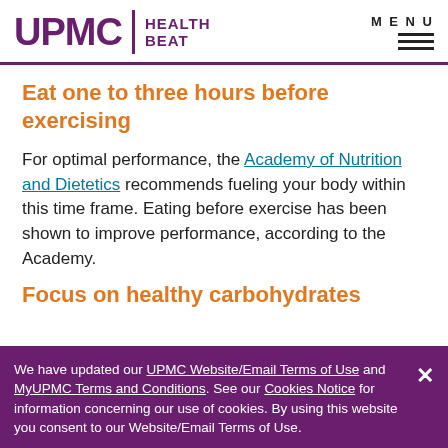UPMC HEALTH BEAT | MENU
Eat one to three hours before exercising
For optimal performance, the Academy of Nutrition and Dietetics recommends fueling your body within this time frame. Eating before exercise has been shown to improve performance, according to the Academy.
Focus on healthy carbohydrates
We have updated our UPMC Website/Email Terms of Use and MyUPMC Terms and Conditions. See our Cookies Notice for information concerning our use of cookies. By using this website you consent to our Website/Email Terms of Use.